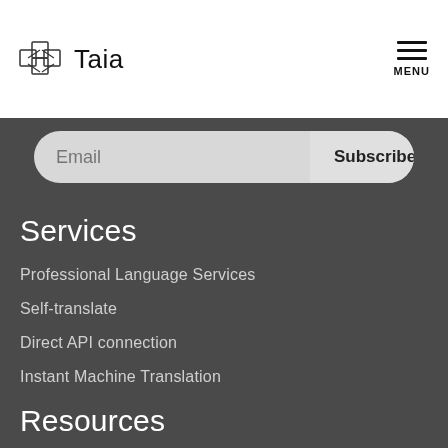Taia — MENU
Email  Subscribe
Services
Professional Language Services
Self-translate
Direct API connection
Instant Machine Translation
Resources
Blog
Podcasts